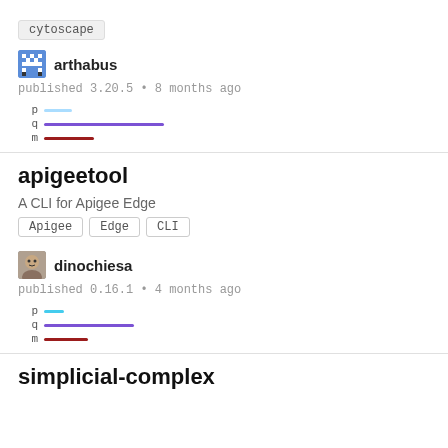cytoscape
arthabus
published 3.20.5 • 8 months ago
[Figure (infographic): Three rows with labels p, q, m and colored bar lines (light blue short, purple long, dark red short)]
apigeetool
A CLI for Apigee Edge
Apigee  Edge  CLI
dinochiesa
published 0.16.1 • 4 months ago
[Figure (infographic): Three rows with labels p, q, m and colored bar lines (cyan short, purple medium, dark red short)]
simplicial-complex